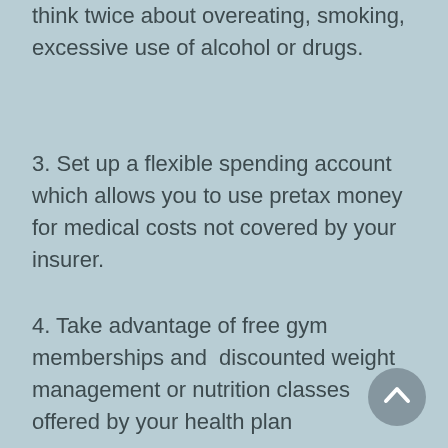think twice about overeating, smoking, excessive use of alcohol or drugs.
3. Set up a flexible spending account which allows you to use pretax money for medical costs not covered by your insurer.
4. Take advantage of free gym memberships and  discounted weight management or nutrition classes offered by your health plan